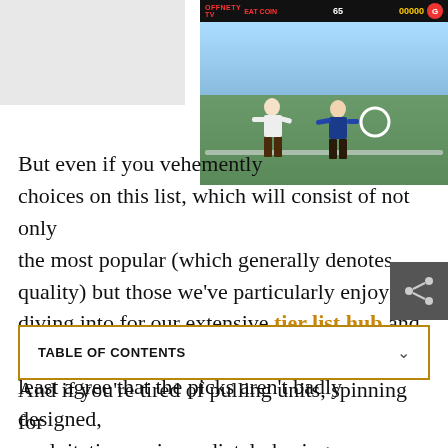[Figure (screenshot): Video game screenshot showing fighting game characters with HUD elements including health bars and score display]
But even if you vehemently disagree with some of our choices on this list, which will consist of not only the most popular (which generally denotes quality) but those we've particularly enjoyed diving into for our extensive tier list hub and Roblox guides page, we hope that you'll at least agree that the picks aren't badly designed, exploitative, or immediately boring.
| TABLE OF CONTENTS |
| --- |
And if you're tired of pulling units, spinning for